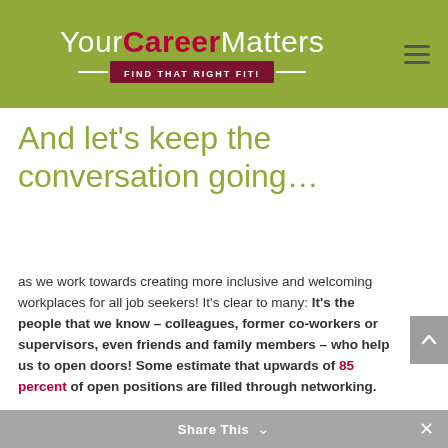YourCareerMatters — FIND THAT RIGHT FIT!
And let's keep the conversation going…
as we work towards creating more inclusive and welcoming workplaces for all job seekers!  It's clear to many:  It's the people that we know – colleagues, former co-workers or supervisors, even friends and family members – who help us to open doors!  Some estimate that upwards of 85 percent of open positions are filled through networking.